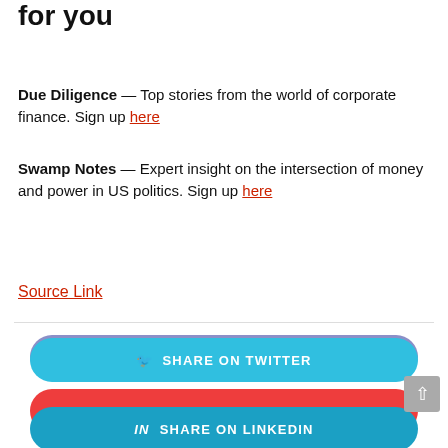Recommended newsletters for you
Due Diligence — Top stories from the world of corporate finance. Sign up here
Swamp Notes — Expert insight on the intersection of money and power in US politics. Sign up here
Source Link
SHARE ON FACEBOOK
SHARE ON TWITTER
SHARE ON PINTEREST
SHARE ON LINKEDIN